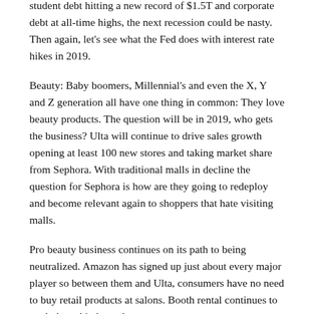student debt hitting a new record of $1.5T and corporate debt at all-time highs, the next recession could be nasty. Then again, let's see what the Fed does with interest rate hikes in 2019.
Beauty: Baby boomers, Millennial's and even the X, Y and Z generation all have one thing in common: They love beauty products. The question will be in 2019, who gets the business? Ulta will continue to drive sales growth opening at least 100 new stores and taking market share from Sephora. With traditional malls in decline the question for Sephora is how are they going to redeploy and become relevant again to shoppers that hate visiting malls.
Pro beauty business continues on its path to being neutralized. Amazon has signed up just about every major player so between them and Ulta, consumers have no need to buy retail products at salons. Booth rental continues to explode and independent